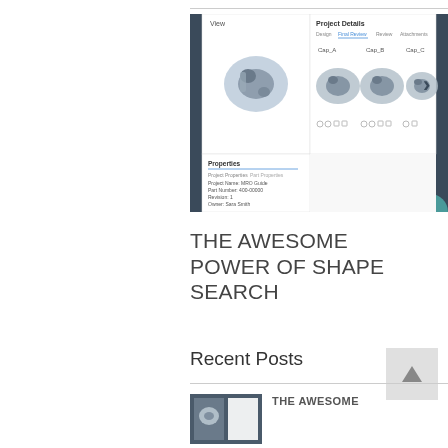[Figure (screenshot): Screenshot of a 3D CAD shape search software interface showing a mechanical part (ball joint) in a View panel on the left and Project Details panel on the right with Cap_A, Cap_B, Cap_C results and a Properties panel below with project name, part number, revision, owner, configuration, status, and created fields.]
THE AWESOME POWER OF SHAPE SEARCH
Recent Posts
[Figure (screenshot): Small thumbnail screenshot of the same shape search software interface.]
THE AWESOME